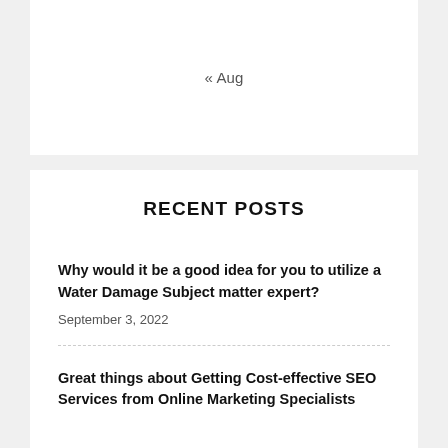« Aug
RECENT POSTS
Why would it be a good idea for you to utilize a Water Damage Subject matter expert?
September 3, 2022
Great things about Getting Cost-effective SEO Services from Online Marketing Specialists